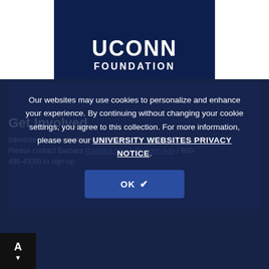[Figure (logo): UConn Foundation logo — dark navy rectangle with white text 'UCONN' and 'FOUNDATION']
Get Involved
Interested in volunteering or looking to sign up for our events? Please contact Barbara (barbara.sousa@uconn.edu / 860-486-4339) to sign up.
Our websites may use cookies to personalize and enhance your experience. By continuing without changing your cookie settings, you agree to this collection. For more information, please see our UNIVERSITY WEBSITES PRIVACY NOTICE.
OK ✓